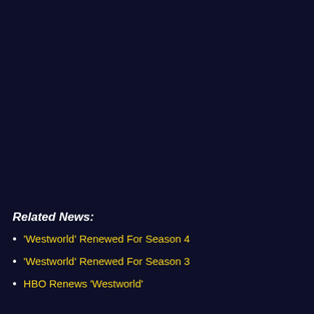Related News:
'Westworld' Renewed For Season 4
'Westworld' Renewed For Season 3
HBO Renews 'Westworld'